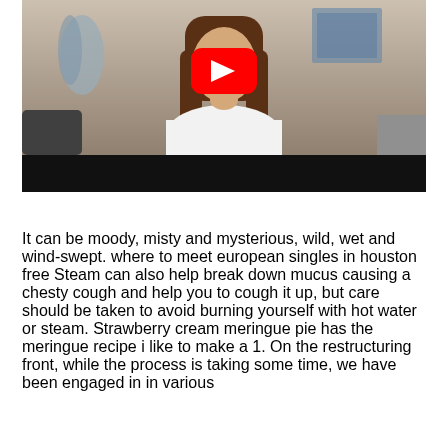[Figure (screenshot): YouTube video thumbnail showing a woman with long brown hair wearing a white top, seated in front of a grey interior. A red YouTube play button is overlaid in the center. The bottom portion of the video has a black bar (video controls area).]
It can be moody, misty and mysterious, wild, wet and wind-swept. where to meet european singles in houston free Steam can also help break down mucus causing a chesty cough and help you to cough it up, but care should be taken to avoid burning yourself with hot water or steam. Strawberry cream meringue pie has the meringue recipe i like to make a 1. On the restructuring front, while the process is taking some time, we have been engaged in in various